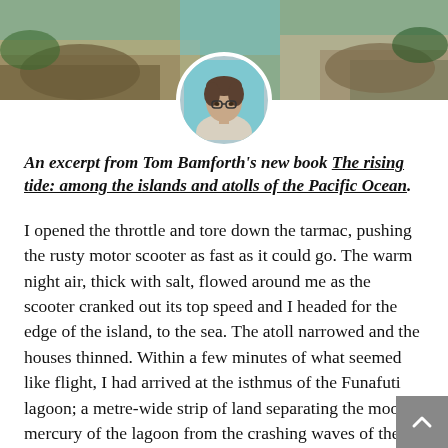[Figure (photo): Header landscape photo of rocky/sandy terrain with tropical vegetation, and a circular avatar portrait of a man with glasses wearing a light shirt, with turquoise water visible in the background.]
An excerpt from Tom Bamforth's new book The rising tide: among the islands and atolls of the Pacific Ocean.
I opened the throttle and tore down the tarmac, pushing the rusty motor scooter as fast as it could go. The warm night air, thick with salt, flowed around me as the scooter cranked out its top speed and I headed for the edge of the island, to the sea. The atoll narrowed and the houses thinned. Within a few minutes of what seemed like flight, I had arrived at the isthmus of the Funafuti lagoon; a metre-wide strip of land separating the moonlit mercury of the lagoon from the crashing waves of the great Pacific Ocean. Tuvalu was one of the smallest countries on earth, and the trip from end to end of its largest atoll took just